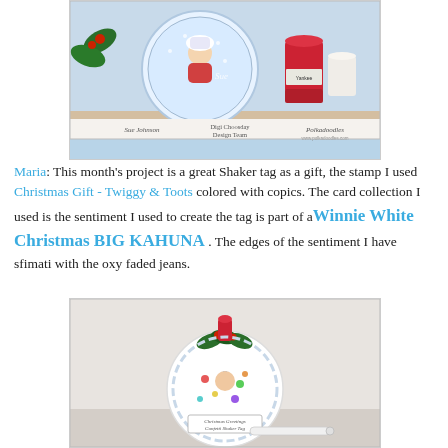[Figure (photo): Christmas craft photo showing a decorated circular card with a girl in a winter hat, holly leaves, candles and craft supplies. Bottom text reads: Sue Johnson, Digi Choosday Design Team, Polkadoodles.]
Maria: This month's project is a great Shaker tag as a gift, the stamp I used Christmas Gift - Twiggy & Toots colored with copics. The card collection I used is the sentiment I used to create the tag is part of a Winnie White Christmas BIG KAHUNA . The edges of the sentiment I have sfimati with the oxy faded jeans.
[Figure (photo): Photo of a shaker tag ornament shaped like a bauble with Christmas decorations, holly and sequins inside, sitting on a surface with a pen nearby.]